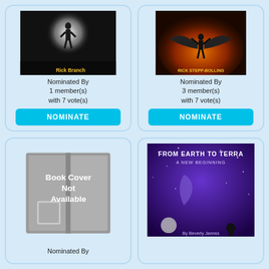[Figure (illustration): Book cover for Rick Branch - dark silhouette of a person standing in white light]
Nominated By 1 member(s) with 7 vote(s)
NOMINATE
[Figure (illustration): Book cover for Rick Stepp-Bolling - winged figure with fire/flames background]
Nominated By 3 member(s) with 7 vote(s)
NOMINATE
[Figure (illustration): Book Cover Not Available placeholder image]
Nominated By
[Figure (illustration): Book cover for From Earth to Terra: A New Beginning by Beverly Jannss - space/stars purple background with crescent moon and silhouette]